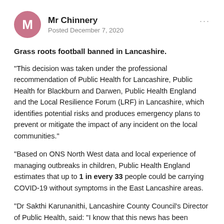Mr Chinnery
Posted December 7, 2020
Grass roots football banned in Lancashire.
"This decision was taken under the professional recommendation of Public Health for Lancashire, Public Health for Blackburn and Darwen, Public Health England and the Local Resilience Forum (LRF) in Lancashire, which identifies potential risks and produces emergency plans to prevent or mitigate the impact of any incident on the local communities."
"Based on ONS North West data and local experience of managing outbreaks in children, Public Health England estimates that up to 1 in every 33 people could be carrying COVID-19 without symptoms in the East Lancashire areas.
"Dr Sakthi Karunanithi, Lancashire County Council's Director of Public Health, said: "I know that this news has been disappointing for many people, but it is important that we contain the spread of coronavirus, especially as we enter the Christmas period..."